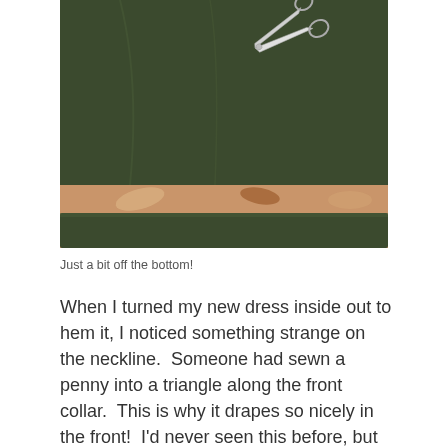[Figure (photo): A dark olive green fabric/dress laid flat on a colorful floral patterned background. A strip of the fabric has been cut from the bottom. A pair of silver scissors rests on top of the green fabric in the upper right area.]
Just a bit off the bottom!
When I turned my new dress inside out to hem it, I noticed something strange on the neckline.  Someone had sewn a penny into a triangle along the front collar.  This is why it drapes so nicely in the front!  I'd never seen this before, but thought it MUST be a sign of good luck, so I